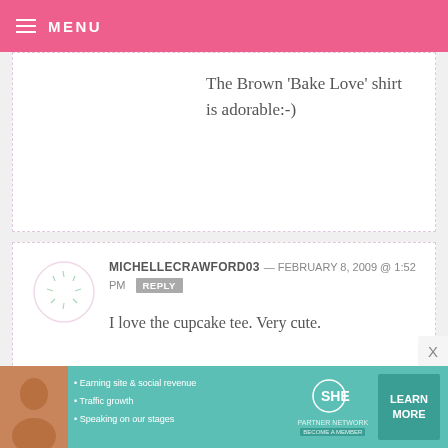MENU
The brown 'Bake Love' shirt is adorable:-)
MICHELLECRAWFORD03 — FEBRUARY 8, 2009 @ 1:52 PM REPLY
I love the cupcake tee. Very cute.
OH MY #6 — FEBRUARY 8, 2009 @ 1:51 PM REPLY
PS. Congrats on the design.
[Figure (infographic): Advertisement banner for SHE Partner Network with bullet points: Earning site & social revenue, Traffic growth, Speaking on our stages. Includes LEARN MORE button.]